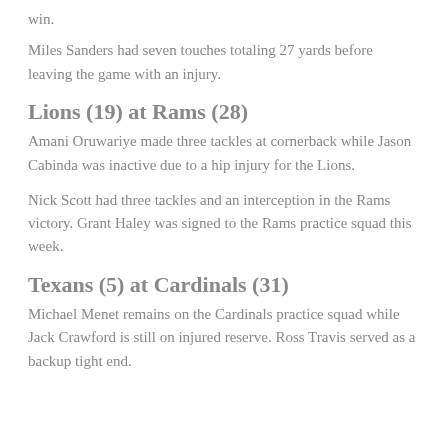win.
Miles Sanders had seven touches totaling 27 yards before leaving the game with an injury.
Lions (19) at Rams (28)
Amani Oruwariye made three tackles at cornerback while Jason Cabinda was inactive due to a hip injury for the Lions.
Nick Scott had three tackles and an interception in the Rams victory. Grant Haley was signed to the Rams practice squad this week.
Texans (5) at Cardinals (31)
Michael Menet remains on the Cardinals practice squad while Jack Crawford is still on injured reserve. Ross Travis served as a backup tight end.